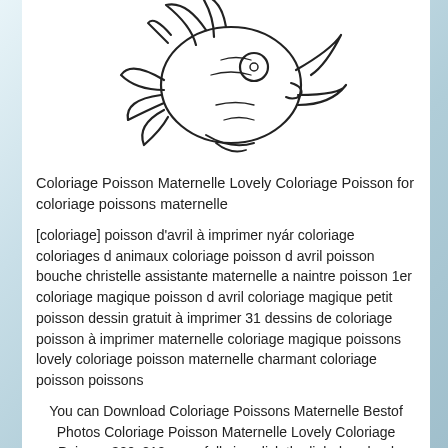[Figure (illustration): Line drawing coloring page of a cartoon fish with decorative fins and a round body, shown from above, black outlines on white background]
Coloriage Poisson Maternelle Lovely Coloriage Poisson for coloriage poissons maternelle
[coloriage] poisson d’avril à imprimer nyár coloriage coloriages d animaux coloriage poisson d avril poisson bouche christelle assistante maternelle a naintre poisson 1er coloriage magique poisson d avril coloriage magique petit poisson dessin gratuit à imprimer 31 dessins de coloriage poisson à imprimer maternelle coloriage magique poissons lovely coloriage poisson maternelle charmant coloriage poisson poissons
You can Download Coloriage Poissons Maternelle Bestof Photos Coloriage Poisson Maternelle Lovely Coloriage Poisson 300x210 px or full size click the link download